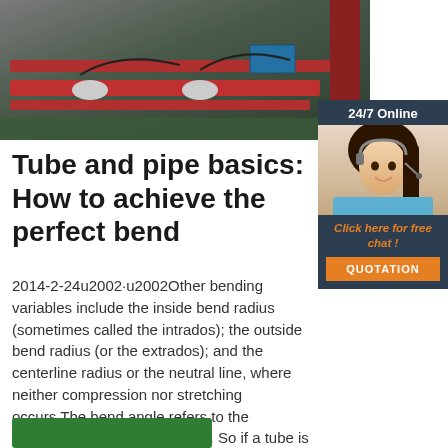[Figure (photo): Industrial tube/pipe bending machine with red horizontal bars and rollers on a factory floor]
Tube and pipe basics: How to achieve the perfect bend
2014-2-24u2002·u2002Other bending variables include the inside bend radius (sometimes called the intrados); the outside bend radius (or the extrados); and the centerline radius or the neutral line, where neither compression nor stretching occurs.The bend angle refers to the complementary angle of bend. So if a tube is bent to '45 degrees,' that's 45 degrees complementary, or a 135-degree included bend angle ...